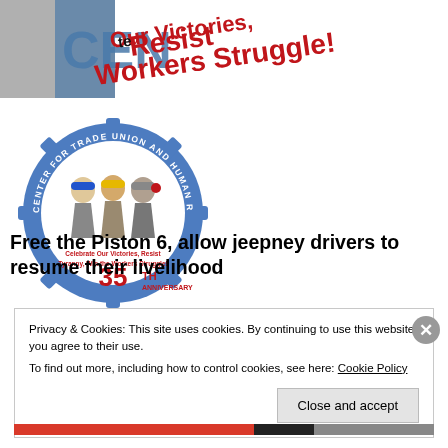[Figure (illustration): Top banner showing partial text 'CEN', 'Celebrate Our Victories, Resist' and 'Workers Struggle!' in red bold text on white background with a grey shape on left.]
[Figure (logo): Center for Trade Union and Human Rights 35th Anniversary logo. Circular gear shape in blue with text 'CENTER FOR TRADE UNION AND HUMAN RIGHTS' around the border. Inside: three worker silhouettes wearing hard hats in blue, yellow, gray. Text reads: 'Celebrate Our Victories, Resist Tyranny, Win the Workers Struggle!' and '35TH ANNIVERSARY' in red.]
Free the Piston 6, allow jeepney drivers to resume their livelihood
Privacy & Cookies: This site uses cookies. By continuing to use this website, you agree to their use.
To find out more, including how to control cookies, see here: Cookie Policy
Close and accept